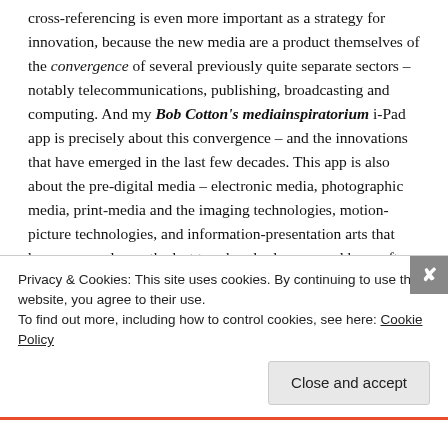cross-referencing is even more important as a strategy for innovation, because the new media are a product themselves of the convergence of several previously quite separate sectors – notably telecommunications, publishing, broadcasting and computing. And my Bob Cotton's mediainspiratorium i-Pad app is precisely about this convergence – and the innovations that have emerged in the last few decades. This app is also about the pre-digital media – electronic media, photographic media, print-media and the imaging technologies, motion-picture technologies, and information-presentation arts that have emerged over the last two-hundred years, and have often preceded, predicted or formally influenced the
Privacy & Cookies: This site uses cookies. By continuing to use this website, you agree to their use.
To find out more, including how to control cookies, see here: Cookie Policy
Close and accept